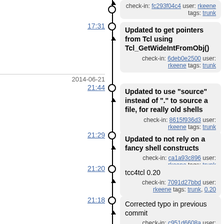check-in: fc293f04c4 user: rkeene tags: trunk
17:31 — Updated to get pointers from Tcl using Tcl_GetWideIntFromObj()
check-in: 6deb0e2500 user: rkeene tags: trunk
2014-06-21
21:44 — Updated to use "source" instead of "." to source a file, for really old shells
check-in: 8615f936d3 user: rkeene tags: trunk
21:29 — Updated to not rely on a fancy shell constructs
check-in: ca1a93c896 user: rkeene tags: trunk
21:20 — tcc4tcl 0.20
check-in: 7091d27bbd user: rkeene tags: trunk, 0.20
21:18 — Corrected typo in previous commit
check-in: c951d6608a user: rkeene tags: trunk
21:17 — Updated to give a useful error if an invalid subcommand is given
check-in: d7b387c82f user: rkeene tags: trunk